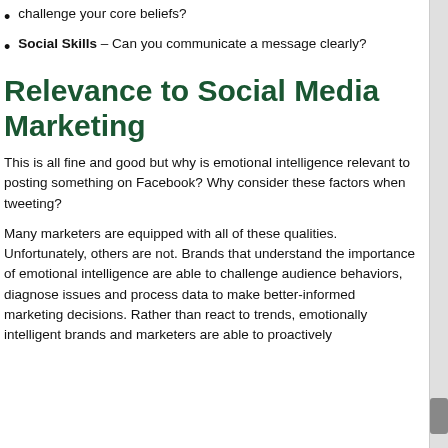challenge your core beliefs?
Social Skills – Can you communicate a message clearly?
Relevance to Social Media Marketing
This is all fine and good but why is emotional intelligence relevant to posting something on Facebook? Why consider these factors when tweeting?
Many marketers are equipped with all of these qualities. Unfortunately, others are not. Brands that understand the importance of emotional intelligence are able to challenge audience behaviors, diagnose issues and process data to make better-informed marketing decisions. Rather than react to trends, emotionally intelligent brands and marketers are able to proactively